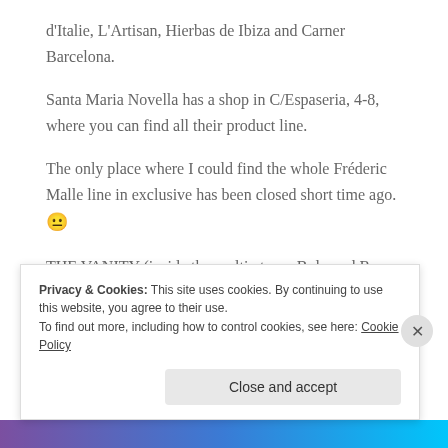d'Italie, L'Artisan, Hierbas de Ibiza and Carner Barcelona.
Santa Maria Novella has a shop in C/Espaseria, 4-8, where you can find all their product line.
The only place where I could find the whole Fréderic Malle line in exclusive has been closed short time ago. 😐
THE VANITY (inside the multi-storey Bulevard Rosa in Passeig de Gràcia) carry just another few brands: Puredistance, Atelier Flou, Les Parfums de Rosine, Masaki Matsushima and Acqua di Stresa. But I'm not sure
Privacy & Cookies: This site uses cookies. By continuing to use this website, you agree to their use.
To find out more, including how to control cookies, see here: Cookie Policy